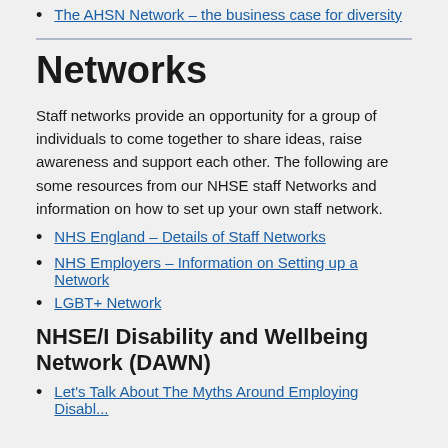The AHSN Network – the business case for diversity
Networks
Staff networks provide an opportunity for a group of individuals to come together to share ideas, raise awareness and support each other.  The following are some resources from our NHSE staff Networks and information on how to set up your own staff network.
NHS England – Details of Staff Networks
NHS Employers – Information on Setting up a Network
LGBT+ Network
NHSE/I Disability and Wellbeing Network (DAWN)
Let's Talk About The Myths Around Employing Disabled...